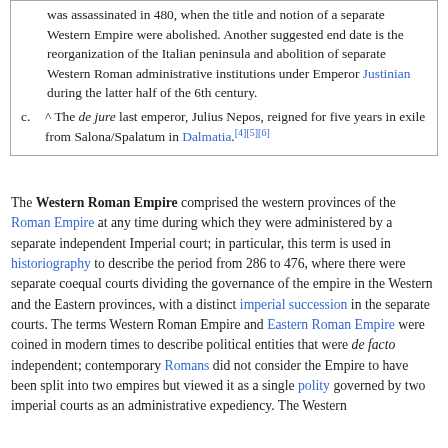was assassinated in 480, when the title and notion of a separate Western Empire were abolished. Another suggested end date is the reorganization of the Italian peninsula and abolition of separate Western Roman administrative institutions under Emperor Justinian during the latter half of the 6th century.
c. ^ The de jure last emperor, Julius Nepos, reigned for five years in exile from Salona/Spalatum in Dalmatia.[4][5][6]
The Western Roman Empire comprised the western provinces of the Roman Empire at any time during which they were administered by a separate independent Imperial court; in particular, this term is used in historiography to describe the period from 286 to 476, where there were separate coequal courts dividing the governance of the empire in the Western and the Eastern provinces, with a distinct imperial succession in the separate courts. The terms Western Roman Empire and Eastern Roman Empire were coined in modern times to describe political entities that were de facto independent; contemporary Romans did not consider the Empire to have been split into two empires but viewed it as a single polity governed by two imperial courts as an administrative expediency. The Western